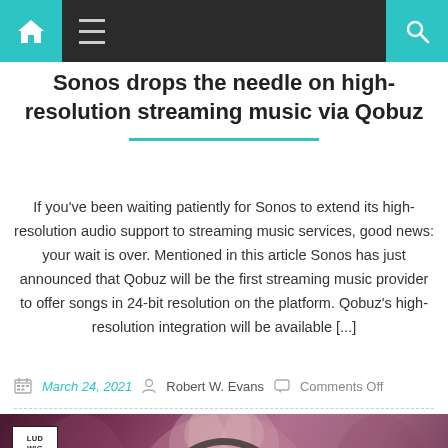Navigation bar with home, menu, and search icons
Sonos drops the needle on high-resolution streaming music via Qobuz
If you've been waiting patiently for Sonos to extend its high-resolution audio support to streaming music services, good news: your wait is over. Mentioned in this article Sonos has just announced that Qobuz will be the first streaming music provider to offer songs in 24-bit resolution on the platform. Qobuz's high-resolution integration will be available [...]
March 24, 2021  Robert W. Evans  Comments Off
[Figure (photo): Photo of a woman seen from behind wearing headphones, with a purple/mauve toned color grading. Ludwig Van logo box is visible in top-left corner. A teal scroll-to-top button is in the bottom-right corner.]